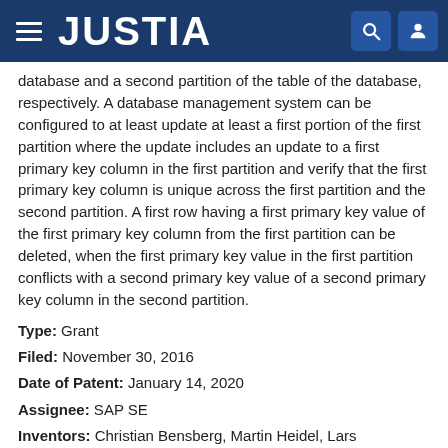JUSTIA
database and a second partition of the table of the database, respectively. A database management system can be configured to at least update at least a first portion of the first partition where the update includes an update to a first primary key column in the first partition and verify that the first primary key column is unique across the first partition and the second partition. A first row having a first primary key value of the first primary key column from the first partition can be deleted, when the first primary key value in the first partition conflicts with a second primary key value of a second primary key column in the second partition.
Type: Grant
Filed: November 30, 2016
Date of Patent: January 14, 2020
Assignee: SAP SE
Inventors: Christian Bensberg, Martin Heidel, Lars